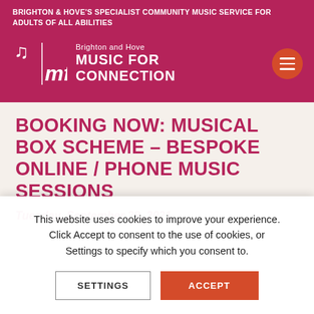BRIGHTON & HOVE'S SPECIALIST COMMUNITY MUSIC SERVICE FOR ADULTS OF ALL ABILITIES
[Figure (logo): Brighton and Hove Music for Connection logo with musical notes icon and hamburger menu button]
BOOKING NOW: MUSICAL BOX SCHEME – BESPOKE ONLINE / PHONE MUSIC SESSIONS
Tuesday, September 28, 2021
This website uses cookies to improve your experience. Click Accept to consent to the use of cookies, or Settings to specify which you consent to.